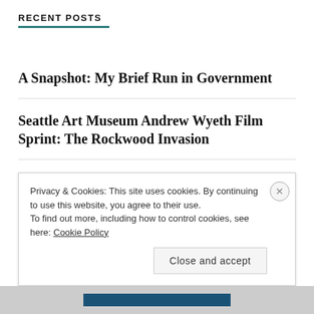RECENT POSTS
A Snapshot: My Brief Run in Government
Seattle Art Museum Andrew Wyeth Film Sprint: The Rockwood Invasion
Ushering in November Thankfulness
Step 1: The Wyeth Film Project
My City Wants to Send Parents to Prison for 6
Privacy & Cookies: This site uses cookies. By continuing to use this website, you agree to their use. To find out more, including how to control cookies, see here: Cookie Policy
Close and accept